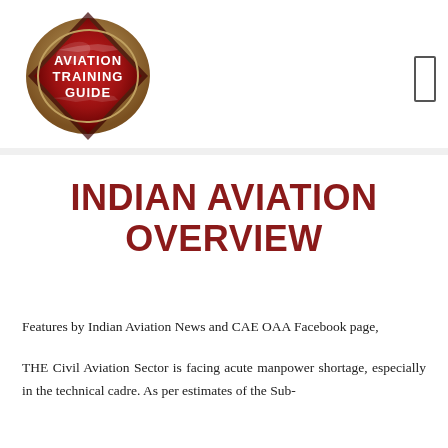[Figure (logo): Aviation Training Guide logo — red diamond/shield shape with text AVIATION TRAINING GUIDE and silhouette of aircraft]
INDIAN AVIATION OVERVIEW
Features by Indian Aviation News and CAE OAA Facebook page,
THE Civil Aviation Sector is facing acute manpower shortage, especially in the technical cadre. As per estimates of the Sub-